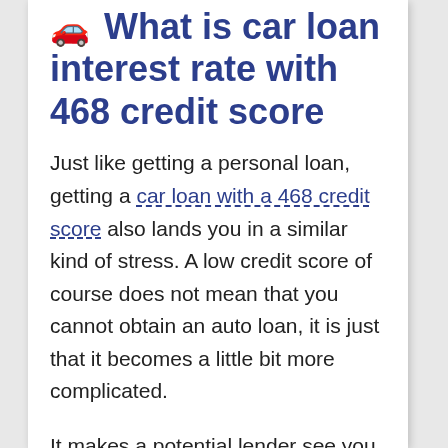🚗 What is car loan interest rate with 468 credit score
Just like getting a personal loan, getting a car loan with a 468 credit score also lands you in a similar kind of stress. A low credit score of course does not mean that you cannot obtain an auto loan, it is just that it becomes a little bit more complicated.
It makes a potential lender see you as someone that